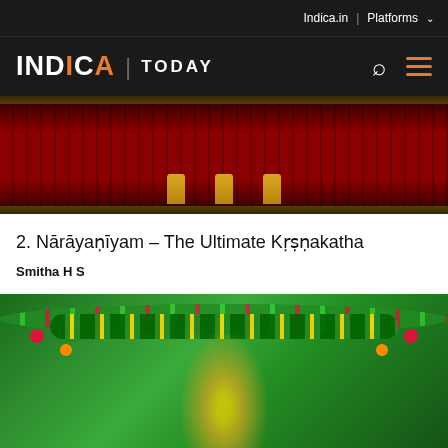Indica.in | Platforms
[Figure (logo): INDICA TODAY logo with search and hamburger menu icons on dark background]
[Figure (photo): Temple deity statues with red and gold pillared background]
2. Nārāyaṇīyam – The Ultimate Kṛṣṇakatha
Smitha H S
[Figure (photo): Decorated Krishna idol with green flower garlands and gold ornaments]